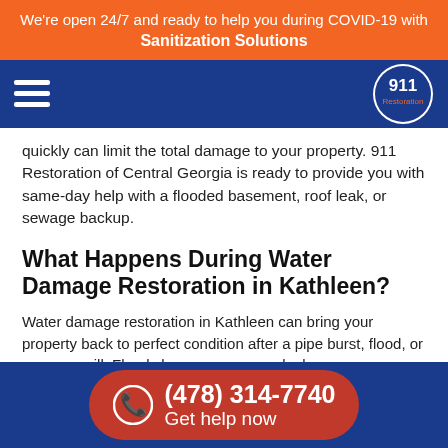We're open 24/7 and ready to help you during COVID-19 with Sanitization Solutions
quickly can limit the total damage to your property. 911 Restoration of Central Georgia is ready to provide you with same-day help with a flooded basement, roof leak, or sewage backup.
What Happens During Water Damage Restoration in Kathleen?
Water damage restoration in Kathleen can bring your property back to perfect condition after a pipe burst, flood, or sewage spill. Flood cleanup crews can look over your property with a water damage and mold inspection. The results of your water damage and mold inspection help experts construct a personalized restoration plan, which may require them to:
Isolate damaged areas of your property
Complete water extraction and dehumidification
(478) 314-7740 Get help now